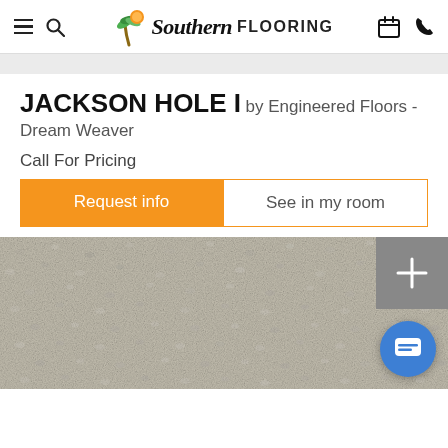Southern FLOORING
JACKSON HOLE I by Engineered Floors - Dream Weaver
Call For Pricing
Request info
See in my room
[Figure (photo): Close-up photograph of carpet texture in a beige/gray tone, showing the looped pile construction of the Jackson Hole I carpet. A small darker color swatch thumbnail is visible in the top-right corner with a plus icon.]